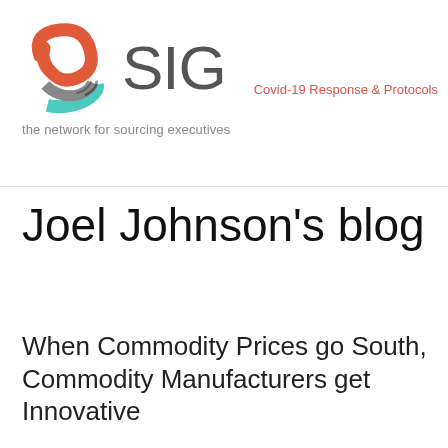[Figure (logo): SIG logo — a stylized knot shape with red, grey, and teal strands, followed by the text 'SIG' in large grey sans-serif, and the tagline 'the network for sourcing executives']
Covid-19 Response & Protocols
Joel Johnson's blog
When Commodity Prices go South, Commodity Manufacturers get Innovative